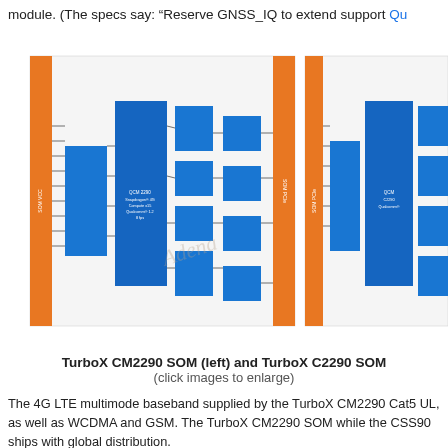module. (The specs say: “Reserve GNSS_IQ to extend support Qu…
[Figure (schematic): Block diagrams of TurboX CM2290 SOM (left) and TurboX C2290 SOM (right), showing orange and blue component blocks with interconnecting lines and labels for interfaces]
TurboX CM2290 SOM (left) and TurboX C2290 SOM
(click images to enlarge)
The 4G LTE multimode baseband supplied by the TurboX CM2290 Cat5 UL, as well as WCDMA and GSM. The TurboX CM2290 SOM while the CSS90 ships with global distribution.
The TurboX CM2290 and C2290 SOMs ship with” 3GB/2GB” LPDD Interfaces include 4-lane MIPI-DSI and 2x 4-lane MIPI-CSI for supp cameras or 13MP or 21MP. You also get Soundwire, USB 3.1 Type…